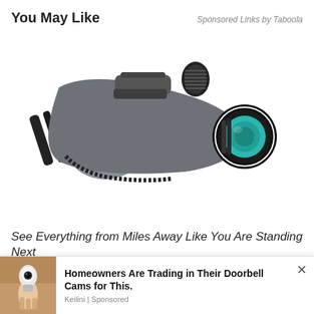You May Like
Sponsored Links by Taboola
[Figure (photo): A monocular/telescope device with gray and black body, rubber grip rings, and a teal-coated objective lens, photographed on white background.]
See Everything from Miles Away Like You Are Standing Next
[Figure (photo): A smart bulb camera product (Keilini) held by a hand near a ceiling fixture, shown in a small thumbnail image.]
Homeowners Are Trading in Their Doorbell Cams for This.
Keilini | Sponsored